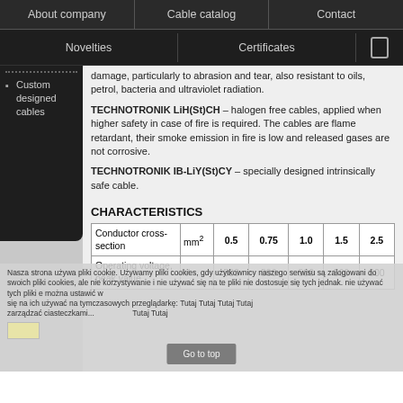About company | Cable catalog | Contact
Novelties | Certificates | [phone icon]
Custom designed cables
damage, particularly to abrasion and tear, also resistant to oils, petrol, bacteria and ultraviolet radiation.
TECHNOTRONIK LiH(St)CH – halogen free cables, applied when higher safety in case of fire is required. The cables are flame retardant, their smoke emission in fire is low and released gases are not corrosive.
TECHNOTRONIK IB-LiY(St)CY – specially designed intrinsically safe cable.
CHARACTERISTICS
| Conductor cross-section | mm² | 0.5 | 0.75 | 1.0 | 1.5 | 2.5 |
| --- | --- | --- | --- | --- | --- | --- |
| Operating voltage, peak value | V | 500 | 500 | 500 | 500 | 500 |
Nasza strona używa pliki cookie. Używamy pliki cookies, gdy użytkownicy naszego serwisu są zalogowani do swoich plików cookies, ale nie dostępne są na korzystywanie i nie używać się na te pliki, można ustawić w opcjach zarządzać ciasteczkami...